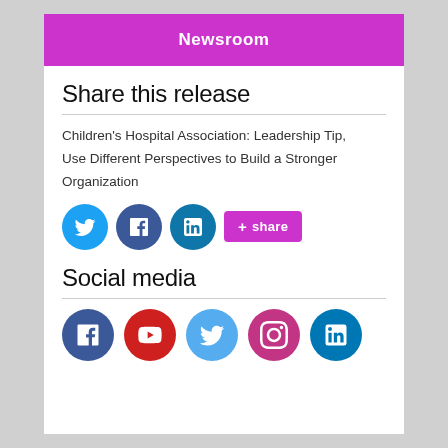Newsroom
Share this release
Children's Hospital Association: Leadership Tip, Use Different Perspectives to Build a Stronger Organization
[Figure (infographic): Social share buttons: Twitter (blue circle), Facebook (dark blue circle), LinkedIn (teal circle), and a pink/purple '+share' button]
Social media
[Figure (infographic): Social media icon circles: Facebook (dark blue), YouTube (red), Twitter (light blue), Instagram (pink/purple), LinkedIn (blue)]